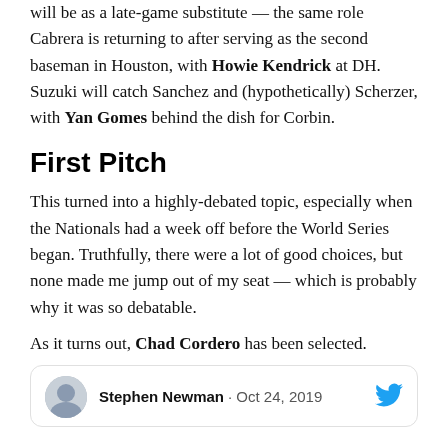will be as a late-game substitute — the same role Cabrera is returning to after serving as the second baseman in Houston, with Howie Kendrick at DH. Suzuki will catch Sanchez and (hypothetically) Scherzer, with Yan Gomes behind the dish for Corbin.
First Pitch
This turned into a highly-debated topic, especially when the Nationals had a week off before the World Series began. Truthfully, there were a lot of good choices, but none made me jump out of my seat — which is probably why it was so debatable.
As it turns out, Chad Cordero has been selected.
[Figure (other): Tweet card from Stephen Newman dated Oct 24, 2019 with Twitter bird icon and avatar photo]